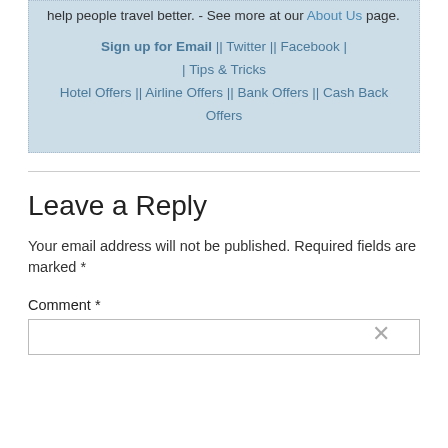help people travel better. - See more at our About Us page.
Sign up for Email || Twitter || Facebook | | Tips & Tricks Hotel Offers || Airline Offers || Bank Offers || Cash Back Offers
Leave a Reply
Your email address will not be published. Required fields are marked *
Comment *